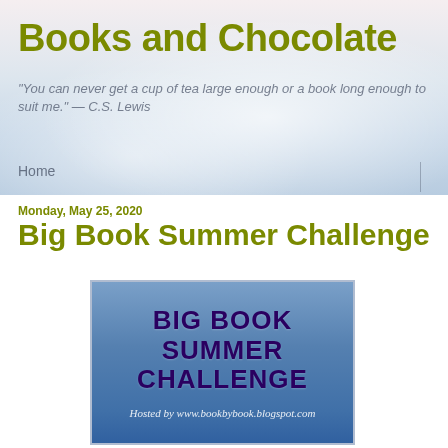Books and Chocolate
"You can never get a cup of tea large enough or a book long enough to suit me." — C.S. Lewis
Home
Monday, May 25, 2020
Big Book Summer Challenge
[Figure (illustration): Big Book Summer Challenge promotional image on a blue sky background. Text reads 'BIG BOOK SUMMER CHALLENGE' in large dark purple bold letters, and below 'Hosted by www.bookbybook.blogspot.com' in white italic text.]